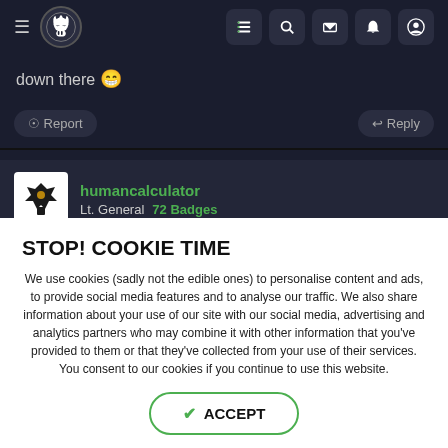Navigation bar with hamburger menu, logo, list icon, search icon, mail icon, bell icon, user icon
down there 😁
⊙ Report   ↩ Reply
humancalculator
Lt. General  72 Badges
STOP! COOKIE TIME
We use cookies (sadly not the edible ones) to personalise content and ads, to provide social media features and to analyse our traffic. We also share information about your use of our site with our social media, advertising and analytics partners who may combine it with other information that you've provided to them or that they've collected from your use of their services. You consent to our cookies if you continue to use this website.
✔ ACCEPT